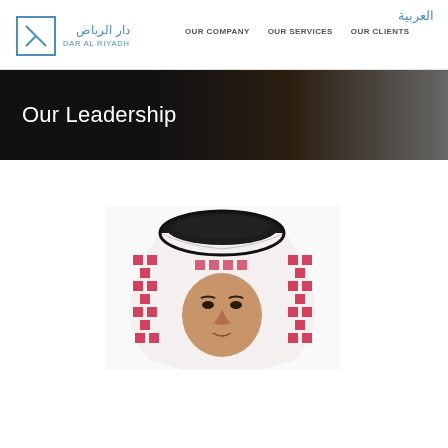العربية | OUR COMPANY | OUR SERVICES | OUR CLIENTS
[Figure (logo): Dar Al Riyadh logo with Arabic text and square border icon]
Our Leadership
[Figure (photo): Partial portrait of a man wearing a traditional Saudi red and white checkered keffiyeh with a black agal, facing slightly forward, cropped at mid-face]